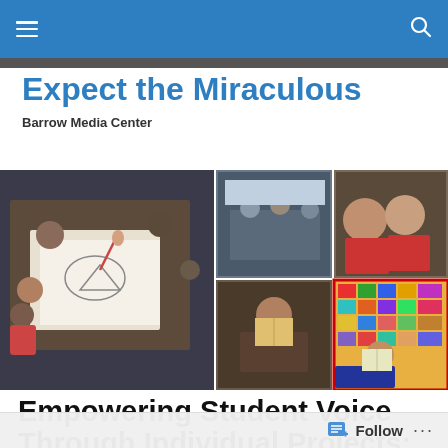Expect the Miraculous — Barrow Media Center (navigation bar)
Expect the Miraculous
Barrow Media Center
[Figure (photo): Collage of classroom photos showing students engaged in various learning activities including drawing on paper, group work, colorful artwork display, and reading.]
Empowering Student Voice Through Individual Projects: A Kindergarten Research Project